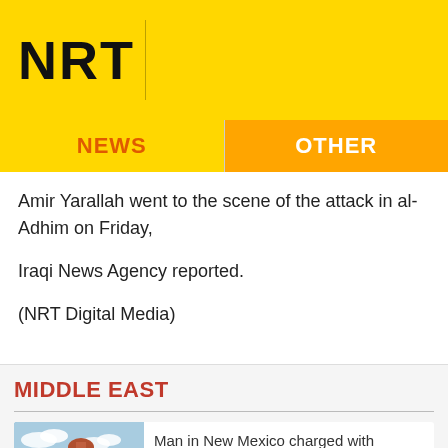NRT
NEWS | OTHER
Amir Yarallah went to the scene of the attack in al-Adhim on Friday, Iraqi News Agency reported.

(NRT Digital Media)
MIDDLE EAST
Man in New Mexico charged with planning ISIS training center
Security forces continue operations to root out ISIS cells in al-Hol